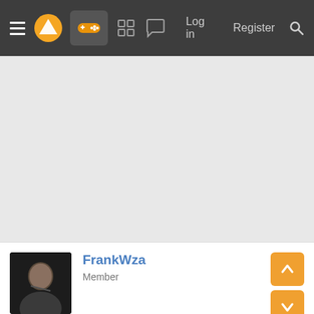Navigation bar with hamburger menu, logo, gamepad icon, grid icon, chat icon, Log in, Register, Search
[Figure (screenshot): Grey content area (advertisement or empty space)]
FrankWza
Member
Nov 23, 2021  #281